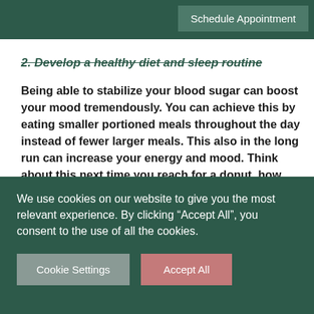Schedule Appointment
2. Develop a healthy diet and sleep routine
Being able to stabilize your blood sugar can boost your mood tremendously. You can achieve this by eating smaller portioned meals throughout the day instead of fewer larger meals. This also in the long run can increase your energy and mood. Think about this next time you reach for a donut, how about you attempt to have a glass of water and some delicious fresh fruit? You will feel the difference after a few days.
3. Get some sleep
We use cookies on our website to give you the most relevant experience. By clicking “Accept All”, you consent to the use of all the cookies.